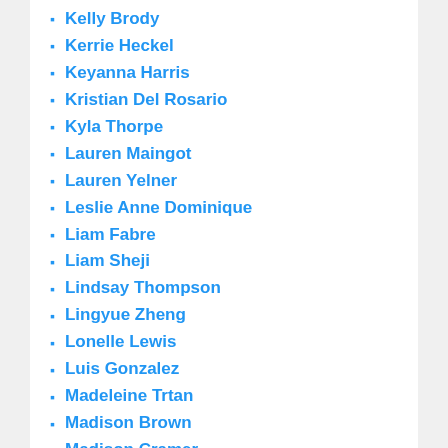Kelly Brody
Kerrie Heckel
Keyanna Harris
Kristian Del Rosario
Kyla Thorpe
Lauren Maingot
Lauren Yelner
Leslie Anne Dominique
Liam Fabre
Liam Sheji
Lindsay Thompson
Lingyue Zheng
Lonelle Lewis
Luis Gonzalez
Madeleine Trtan
Madison Brown
Madison Cramer
Maria Luiza Lago
Marissa Vonesh
Marissa Young
Matias Wodner